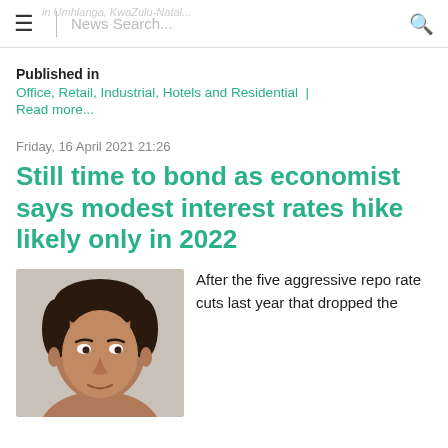in Umhlanga, KwaZulu-Natal... | News Search... 🔍
Published in
Office, Retail, Industrial, Hotels and Residential | Read more...
Friday, 16 April 2021 21:26
Still time to bond as economist says modest interest rates hike likely only in 2022
[Figure (photo): Headshot of a man with dark short hair, close-up portrait photo]
After the five aggressive repo rate cuts last year that dropped the